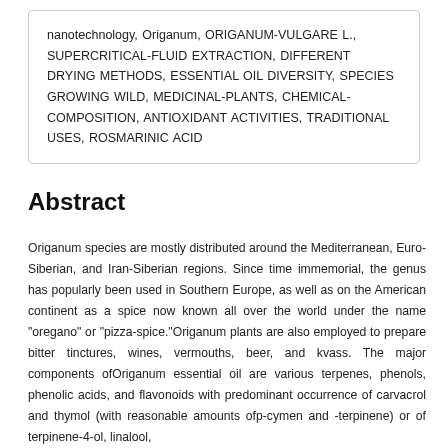nanotechnology, Origanum, ORIGANUM-VULGARE L., SUPERCRITICAL-FLUID EXTRACTION, DIFFERENT DRYING METHODS, ESSENTIAL OIL DIVERSITY, SPECIES GROWING WILD, MEDICINAL-PLANTS, CHEMICAL-COMPOSITION, ANTIOXIDANT ACTIVITIES, TRADITIONAL USES, ROSMARINIC ACID
Abstract
Origanum species are mostly distributed around the Mediterranean, Euro-Siberian, and Iran-Siberian regions. Since time immemorial, the genus has popularly been used in Southern Europe, as well as on the American continent as a spice now known all over the world under the name "oregano" or "pizza-spice."Origanum plants are also employed to prepare bitter tinctures, wines, vermouths, beer, and kvass. The major components ofOriganum essential oil are various terpenes, phenols, phenolic acids, and flavonoids with predominant occurrence of carvacrol and thymol (with reasonable amounts ofp-cymen and -terpinene) or of terpinene-4-ol, linalool,